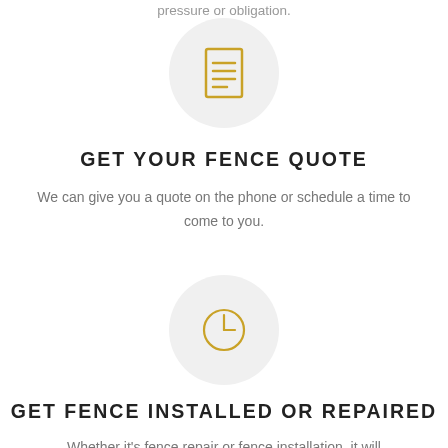pressure or obligation.
[Figure (illustration): Document/list icon in gold color inside a light gray circle]
GET YOUR FENCE QUOTE
We can give you a quote on the phone or schedule a time to come to you.
[Figure (illustration): Clock icon in gold color inside a light gray circle]
GET FENCE INSTALLED OR REPAIRED
Whether it's fence repair or fence installation, it will